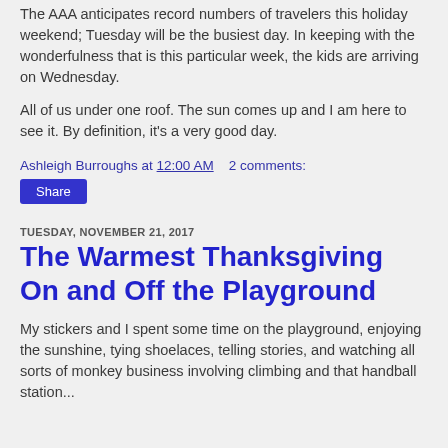The AAA anticipates record numbers of travelers this holiday weekend; Tuesday will be the busiest day.  In keeping with the wonderfulness that is this particular week, the kids are arriving on Wednesday.
All of us under one roof.   The sun comes up and I am here to see it.  By definition, it's a very good day.
Ashleigh Burroughs at 12:00 AM    2 comments:
Share
TUESDAY, NOVEMBER 21, 2017
The Warmest Thanksgiving On and Off the Playground
My stickers and I spent some time on the playground, enjoying the sunshine, tying shoelaces, telling stories, and watching all sorts of monkey business involving climbing and that handball station...